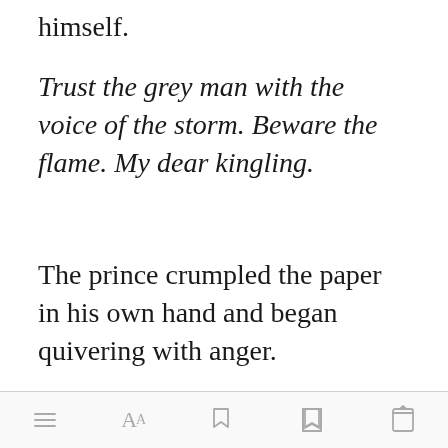himself.
Trust the grey man with the voice of the storm. Beware the flame. My dear kingling.
The prince crumpled the paper in his own hand and began quivering with anger.
"My prince?" N[Open in app]sked, lightly